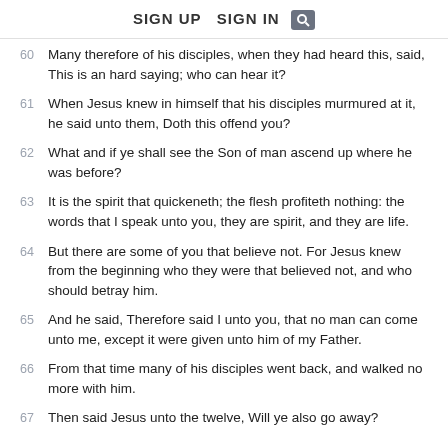SIGN UP   SIGN IN  [search icon]
60  Many therefore of his disciples, when they had heard this, said, This is an hard saying; who can hear it?
61  When Jesus knew in himself that his disciples murmured at it, he said unto them, Doth this offend you?
62  What and if ye shall see the Son of man ascend up where he was before?
63  It is the spirit that quickeneth; the flesh profiteth nothing: the words that I speak unto you, they are spirit, and they are life.
64  But there are some of you that believe not. For Jesus knew from the beginning who they were that believed not, and who should betray him.
65  And he said, Therefore said I unto you, that no man can come unto me, except it were given unto him of my Father.
66  From that time many of his disciples went back, and walked no more with him.
67  Then said Jesus unto the twelve, Will ye also go away?